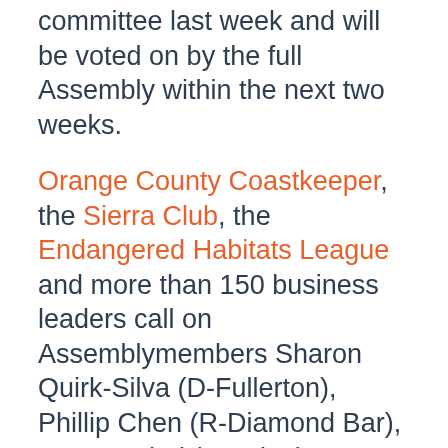committee last week and will be voted on by the full Assembly within the next two weeks.
Orange County Coastkeeper, the Sierra Club, the Endangered Habitats League and more than 150 business leaders call on Assemblymembers Sharon Quirk-Silva (D-Fullerton), Phillip Chen (R-Diamond Bar), Steven Choi (R-Irvine), Tom Daly (D-Anaheim), Matthew Harper (R-Huntington Beach), Bill Brough (R-Dana Point), and Travis Allen (R-Huntington Beach) to support the “Preserve California”